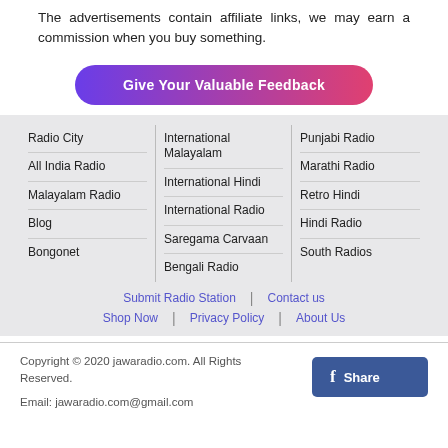The advertisements contain affiliate links, we may earn a commission when you buy something.
[Figure (other): Button with gradient background (purple to pink) labeled 'Give Your Valuable Feedback']
| Col1 | Col2 | Col3 |
| --- | --- | --- |
| Radio City | International Malayalam | Punjabi Radio |
| All India Radio | International Hindi | Marathi Radio |
| Malayalam Radio | International Radio | Retro Hindi |
| Blog | Saregama Carvaan | Hindi Radio |
| Bongonet | Bengali Radio | South Radios |
Submit Radio Station | Contact us
Shop Now | Privacy Policy | About Us
Copyright © 2020 jawaradio.com. All Rights Reserved.
Email: jawaradio.com@gmail.com